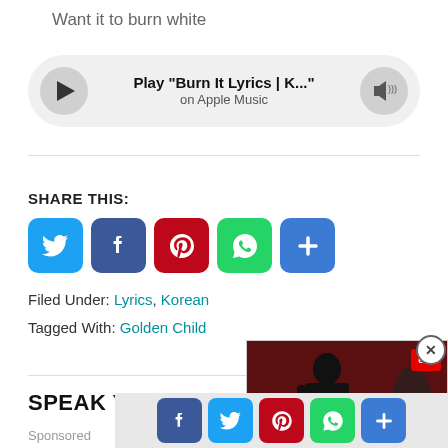Want it to burn white
[Figure (other): Apple Music player bar with play button, song title 'Play "Burn It Lyrics | K..."' and 'on Apple Music', and volume button]
SHARE THIS:
[Figure (infographic): Social share icons: Twitter (blue), Facebook (blue), Pinterest (red), WhatsApp (green), More (blue plus)]
Filed Under: Lyrics, Korean
Tagged With: Golden Child
[Figure (screenshot): Video overlay showing a person in black clothing on red steps, with Japanese text caption reading エズラ・ミラー 昨今の不祥事を謝罪, a play button, and a red logo. Close button (X) in top right corner.]
SPEAK YOUR MIND
Sponsored
[Figure (infographic): Bottom share bar with Facebook, Twitter, Pinterest, WhatsApp, and More share icons]